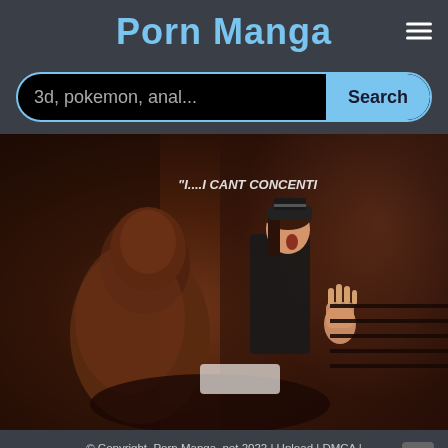Porn Manga
[Figure (screenshot): Search bar with placeholder text '3d, pokemon, anal...' and a 'Search' button on dark background]
[Figure (illustration): 3D rendered image with text overlay '"I....I CANT CONCENTI' in upper right]
© Copyright. Porn Manga .net 2022 | Upload | DMCA | 2257